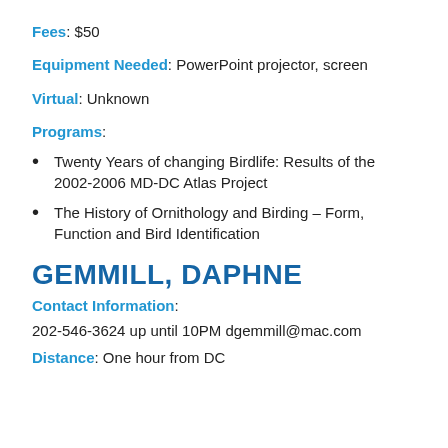Fees: $50
Equipment Needed: PowerPoint projector, screen
Virtual: Unknown
Programs:
Twenty Years of changing Birdlife: Results of the 2002-2006 MD-DC Atlas Project
The History of Ornithology and Birding – Form, Function and Bird Identification
GEMMILL, DAPHNE
Contact Information:
202-546-3624 up until 10PM dgemmill@mac.com
Distance: One hour from DC